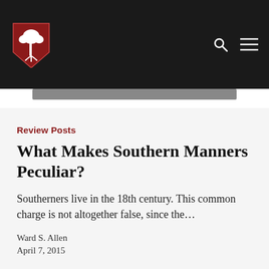[Figure (logo): Red shield logo with white tree (palmetto) design on dark header background with search and menu icons]
Review Posts
What Makes Southern Manners Peculiar?
Southerners live in the 18th century. This common charge is not altogether false, since the…
Ward S. Allen
April 7, 2015